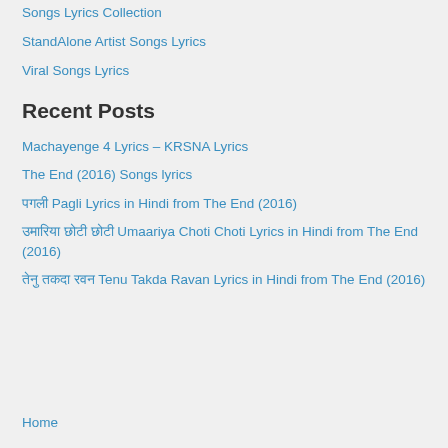Songs Lyrics Collection
StandAlone Artist Songs Lyrics
Viral Songs Lyrics
Recent Posts
Machayenge 4 Lyrics – KRSNA Lyrics
The End (2016) Songs lyrics
पगली Pagli Lyrics in Hindi from The End (2016)
उमारिया छोटी छोटी Umaariya Choti Choti Lyrics in Hindi from The End (2016)
तेनु तकदा रवन Tenu Takda Ravan Lyrics in Hindi from The End (2016)
Home